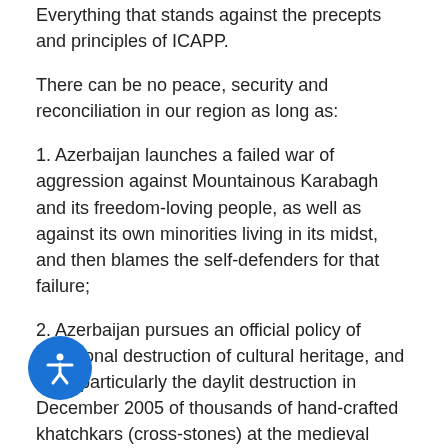Everything that stands against the precepts and principles of ICAPP.
There can be no peace, security and reconciliation in our region as long as:
1. Azerbaijan launches a failed war of aggression against Mountainous Karabagh and its freedom-loving people, as well as against its own minorities living in its midst, and then blames the self-defenders for that failure;
2. Azerbaijan pursues an official policy of intentional destruction of cultural heritage, and most particularly the daylit destruction in December 2005 of thousands of hand-crafted khatchkars (cross-stones) at the medieval Armenian cemetery at Jugha, Nakhichevan—not as collateral damage of war, but 11 years after the ceasefire and hundreds of miles away from the conflict zone—and ever since has blocked all international missions to the site